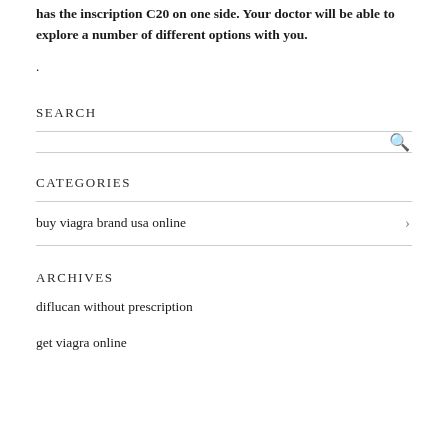has the inscription C20 on one side. Your doctor will be able to explore a number of different options with you.
.
SEARCH
CATEGORIES
buy viagra brand usa online
ARCHIVES
diflucan without prescription
get viagra online